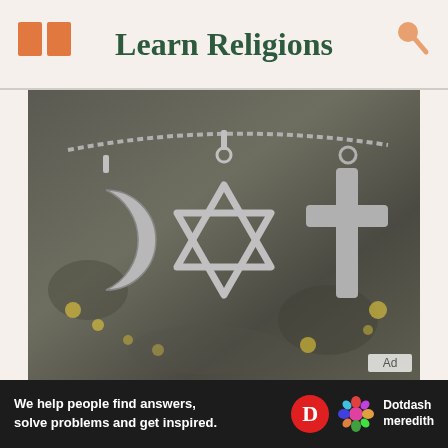Learn Religions
[Figure (photo): Three silver religious symbol pendants hanging on a chain against a lichen-covered rock background: a crescent moon (Islam), a Star of David (Judaism), and a Christian cross.]
Ad
We help people find answers, solve problems and get inspired.
[Figure (logo): Dotdash Meredith logo with D circle icon and colorful flower icon]